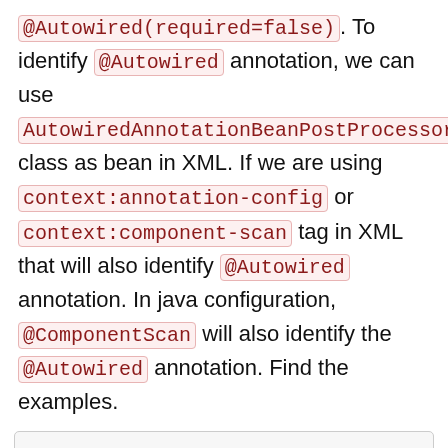@Autowired(required=false). To identify @Autowired annotation, we can use AutowiredAnnotationBeanPostProcessor class as bean in XML. If we are using context:annotation-config or context:component-scan tag in XML that will also identify @Autowired annotation. In java configuration, @ComponentScan will also identify the @Autowired annotation. Find the examples.
Contents
@Autowired with Setter Method using Java Configuration